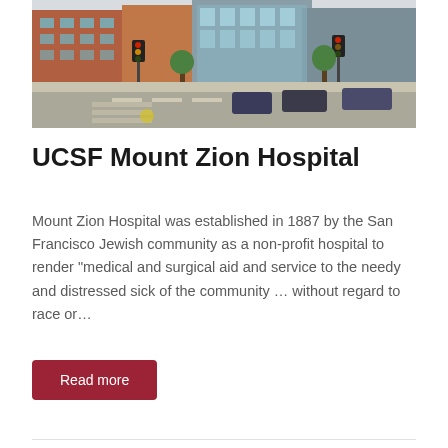[Figure (photo): Street-level exterior photo of UCSF Mount Zion Hospital building, showing a red-brick multi-story building at an urban intersection with traffic signals and parked cars]
UCSF Mount Zion Hospital
Mount Zion Hospital was established in 1887 by the San Francisco Jewish community as a non-profit hospital to render "medical and surgical aid and service to the needy and distressed sick of the community ... without regard to race or...